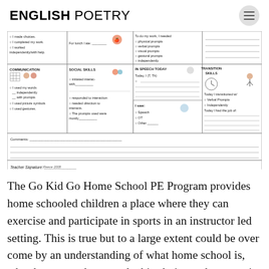ENGLISH POETRY
[Figure (other): A student daily school report form with sections for Communication, Social Skills, In Speech Today, Transition Skills, lunch, Comments, and Teacher Signature. Copyright Reeve 2008.]
The Go Kid Go Home School PE Program provides home schooled children a place where they can exercise and participate in sports in an instructor led setting. This is true but to a large extent could be over come by an understanding of what home school is, why the parents have made this choice and support in